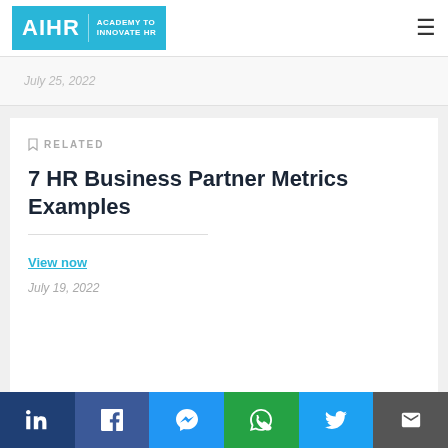AIHR | ACADEMY TO INNOVATE HR
July 25, 2022
RELATED
7 HR Business Partner Metrics Examples
View now
July 19, 2022
LinkedIn Facebook Messenger WhatsApp Twitter Email